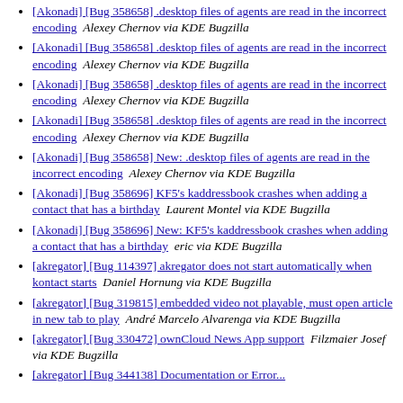[Akonadi] [Bug 358658] .desktop files of agents are read in the incorrect encoding  Alexey Chernov via KDE Bugzilla
[Akonadi] [Bug 358658] .desktop files of agents are read in the incorrect encoding  Alexey Chernov via KDE Bugzilla
[Akonadi] [Bug 358658] .desktop files of agents are read in the incorrect encoding  Alexey Chernov via KDE Bugzilla
[Akonadi] [Bug 358658] .desktop files of agents are read in the incorrect encoding  Alexey Chernov via KDE Bugzilla
[Akonadi] [Bug 358658] New: .desktop files of agents are read in the incorrect encoding  Alexey Chernov via KDE Bugzilla
[Akonadi] [Bug 358696] KF5's kaddressbook crashes when adding a contact that has a birthday  Laurent Montel via KDE Bugzilla
[Akonadi] [Bug 358696] New: KF5's kaddressbook crashes when adding a contact that has a birthday  eric via KDE Bugzilla
[akregator] [Bug 114397] akregator does not start automatically when kontact starts  Daniel Hornung via KDE Bugzilla
[akregator] [Bug 319815] embedded video not playable, must open article in new tab to play  André Marcelo Alvarenga via KDE Bugzilla
[akregator] [Bug 330472] ownCloud News App support  Filzmaier Josef via KDE Bugzilla
[akregator] [Bug 344138] ...